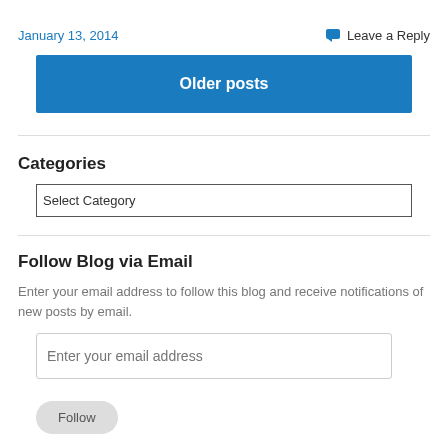January 13, 2014
Leave a Reply
Older posts
Categories
Select Category
Follow Blog via Email
Enter your email address to follow this blog and receive notifications of new posts by email.
Enter your email address
Follow